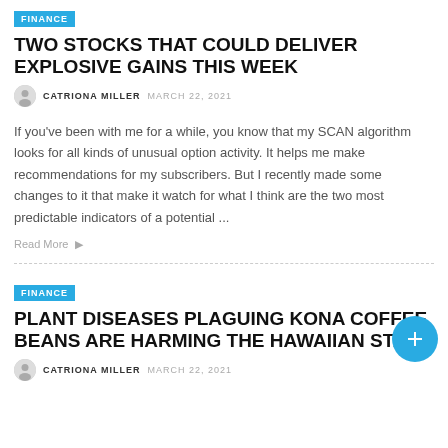FINANCE
TWO STOCKS THAT COULD DELIVER EXPLOSIVE GAINS THIS WEEK
CATRIONA MILLER  MARCH 22, 2021
If you've been with me for a while, you know that my SCAN algorithm looks for all kinds of unusual option activity. It helps me make recommendations for my subscribers. But I recently made some changes to it that make it watch for what I think are the two most predictable indicators of a potential ...
Read More
FINANCE
PLANT DISEASES PLAGUING KONA COFFEE BEANS ARE HARMING THE HAWAIIAN STA
CATRIONA MILLER  MARCH 22, 2021